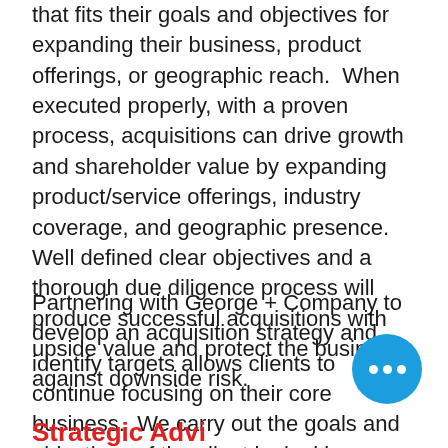that fits their goals and objectives for expanding their business, product offerings, or geographic reach.  When executed properly, with a proven process, acquisitions can drive growth and shareholder value by expanding product/service offerings, industry coverage, and geographic presence.  Well defined clear objectives and a thorough due diligence process will produce successful acquisitions with upside value and protect the business against downside risk.
Partnering with George + Company to develop an acquisition strategy and identify targets allows clients to continue focusing on their core business.  We carry out the goals and objectives of the client by looking on a global scale and across many different industries to identify potential target acquisitions.
Strategic Advi...